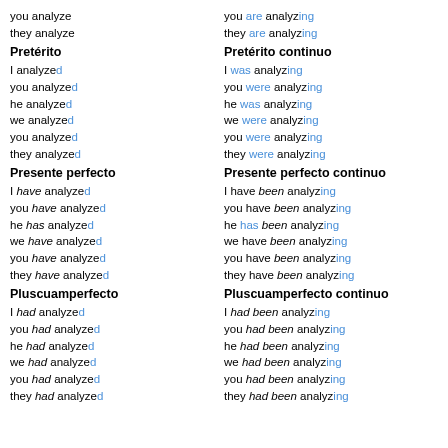you analyze
they analyze
you are analyzing
they are analyzing
Pretérito
I analyzed
you analyzed
he analyzed
we analyzed
you analyzed
they analyzed
Pretérito continuo
I was analyzing
you were analyzing
he was analyzing
we were analyzing
you were analyzing
they were analyzing
Presente perfecto
I have analyzed
you have analyzed
he has analyzed
we have analyzed
you have analyzed
they have analyzed
Presente perfecto continuo
I have been analyzing
you have been analyzing
he has been analyzing
we have been analyzing
you have been analyzing
they have been analyzing
Pluscuamperfecto
I had analyzed
you had analyzed
he had analyzed
we had analyzed
you had analyzed
they had analyzed
Pluscuamperfecto continuo
I had been analyzing
you had been analyzing
he had been analyzing
we had been analyzing
you had been analyzing
they had been analyzing